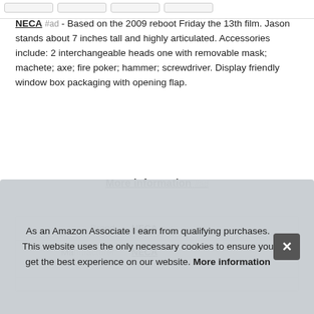[Figure (screenshot): Top navigation tab buttons row]
NECA #ad - Based on the 2009 reboot Friday the 13th film. Jason stands about 7 inches tall and highly articulated. Accessories include: 2 interchangeable heads one with removable mask; machete; axe; fire poker; hammer; screwdriver. Display friendly window box packaging with opening flap.
More information #ad
|  |  |
| --- | --- |
| Brand | NECA #ad |
| Manufacturer | NECA |
As an Amazon Associate I earn from qualifying purchases. This website uses the only necessary cookies to ensure you get the best experience on our website. More information